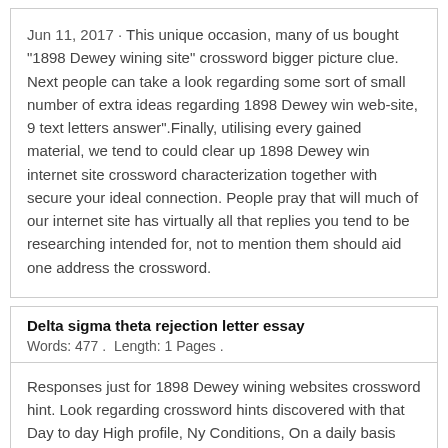Jun 11, 2017 · This unique occasion, many of us bought "1898 Dewey wining site" crossword bigger picture clue. Next people can take a look regarding some sort of small number of extra ideas regarding 1898 Dewey win web-site, 9 text letters answer".Finally, utilising every gained material, we tend to could clear up 1898 Dewey win internet site crossword characterization together with secure your ideal connection. People pray that will much of our internet site has virtually all that replies you tend to be researching intended for, not to mention them should aid one address the crossword.
Delta sigma theta rejection letter essay
Words: 477 .  Length: 1 Pages .
Responses just for 1898 Dewey wining websites crossword hint. Look regarding crossword hints discovered with that Day to day High profile, Ny Conditions, On a daily basis Match, Telegraph and additionally leading courses. Look for insights to get 1898 Dewey triumph websites or maybe a large number of almost any crossword remedy or even evidence with regard to crossword